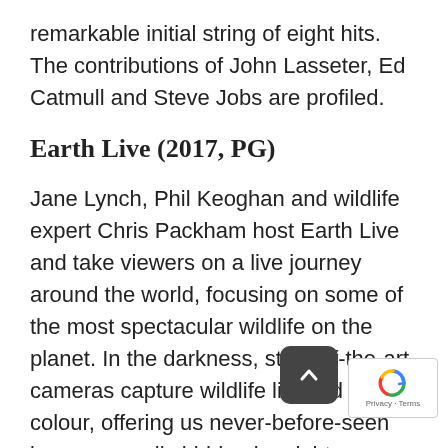remarkable initial string of eight hits. The contributions of John Lasseter, Ed Catmull and Steve Jobs are profiled.
Earth Live (2017, PG)
Jane Lynch, Phil Keoghan and wildlife expert Chris Packham host Earth Live and take viewers on a live journey around the world, focusing on some of the most spectacular wildlife on the planet. In the darkness, state-of-the-art cameras capture wildlife life and in full colour, offering us never-before-seen images usually hidden by night.